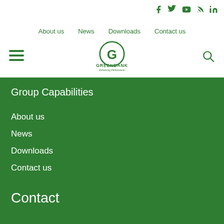[Figure (logo): Social media icons: Facebook, Twitter, YouTube, RSS, LinkedIn in green]
About us   News   Downloads   Contact us
[Figure (logo): Greenbank logo with circular G icon and text 'GREENBANK Enhancing Performance']
[Figure (other): Hamburger menu icon (three horizontal lines) in green]
[Figure (other): Search (magnifying glass) icon in green]
Group Capabilities
About us
News
Downloads
Contact us
Contact